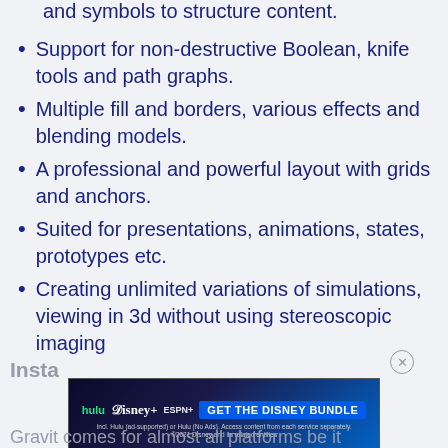and symbols to structure content.
Support for non-destructive Boolean, knife tools and path graphs.
Multiple fill and borders, various effects and blending models.
A professional and powerful layout with grids and anchors.
Suited for presentations, animations, states, prototypes etc.
Creating unlimited variations of simulations, viewing in 3d without using stereoscopic imaging
[Figure (other): Advertisement banner for Disney Bundle featuring Hulu, Disney+, ESPN+ logos with 'GET THE DISNEY BUNDLE' call to action.]
Insta...
Gravit comes for almost all platforms be it